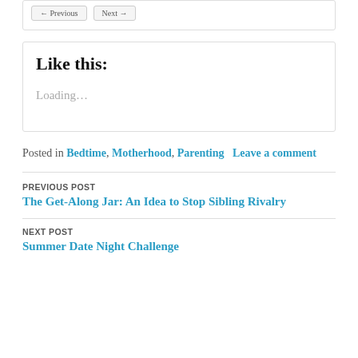[buttons at top]
Like this:
Loading...
Posted in Bedtime, Motherhood, Parenting   Leave a comment
PREVIOUS POST
The Get-Along Jar: An Idea to Stop Sibling Rivalry
NEXT POST
Summer Date Night Challenge